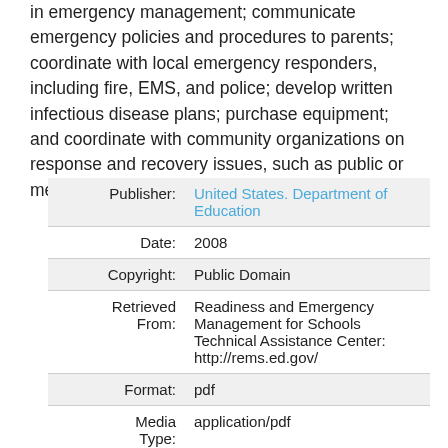in emergency management; communicate emergency policies and procedures to parents; coordinate with local emergency responders, including fire, EMS, and police; develop written infectious disease plans; purchase equipment; and coordinate with community organizations on response and recovery issues, such as public or mental health departments."
| Field | Value |
| --- | --- |
| Publisher: | United States. Department of Education |
| Date: | 2008 |
| Copyright: | Public Domain |
| Retrieved From: | Readiness and Emergency Management for Schools Technical Assistance Center: http://rems.ed.gov/ |
| Format: | pdf |
| Media Type: | application/pdf |
| Source: | Readiness and Emergency Management for Schools (REMS) |